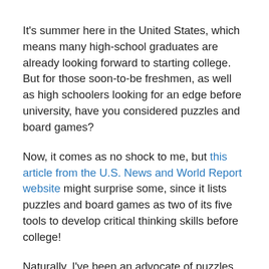It's summer here in the United States, which means many high-school graduates are already looking forward to starting college. But for those soon-to-be freshmen, as well as high schoolers looking for an edge before university, have you considered puzzles and board games?
Now, it comes as no shock to me, but this article from the U.S. News and World Report website might surprise some, since it lists puzzles and board games as two of its five tools to develop critical thinking skills before college!
Naturally, I've been an advocate of puzzles as a learning tool for a long time, so it's gratifying to see a major publication sharing the same views and ideas.